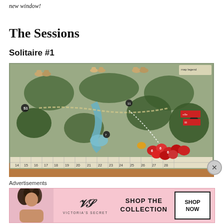new window!
The Sessions
Solitaire #1
[Figure (photo): A board game in progress on a wooden table. The game board shows a illustrated map with forest terrain, roads, rivers, and numbered spaces along the bottom edge (numbers 14-29 visible). Various wooden meeple pieces and tokens are placed on the board. Red meeple pieces are clustered near the bottom right. A numbered track runs along the bottom of the board.]
Advertisements
[Figure (photo): Victoria's Secret advertisement banner with pink background. Shows a model with curly hair on the left, Victoria's Secret logo with stylized VS in center, text 'SHOP THE COLLECTION' and a white button labeled 'SHOP NOW' on the right.]